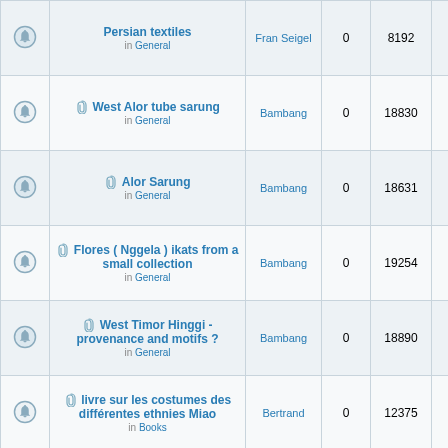|  | Topic | Author | Replies | Views | Last Post |
| --- | --- | --- | --- | --- | --- |
|  | Persian textiles in General | Fran Seigel | 0 | 8192 | Sun Aug 2003 9:0 pm Fran Seig |
|  | West Alor tube sarung in General | Bambang | 0 | 18830 | Wed Jun 2014 7:0 am Bambang |
|  | Alor Sarung in General | Bambang | 0 | 18631 | Wed Jun 2014 6:1 am Bambang |
|  | Flores ( Nggela ) ikats from a small collection in General | Bambang | 0 | 19254 | Tue Jun 1 2014 4:5 am Bambang |
|  | West Timor Hinggi - provenance and motifs ? in General | Bambang | 0 | 18890 | Tue Jun 1 2014 2:3 am Bambang |
|  | livre sur les costumes des différentes ethnies Miao in Books | Bertrand | 0 | 12375 | Mon Nov 2016 2:4 pm Bertrand |
|  | extraordinary new book | Bertrand | 0 | 14582 | Thu Mar 2016 11:3 |